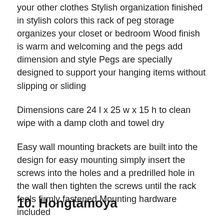your other clothes Stylish organization finished in stylish colors this rack of peg storage organizes your closet or bedroom Wood finish is warm and welcoming and the pegs add dimension and style Pegs are specially designed to support your hanging items without slipping or sliding
Dimensions care 24 l x 25 w x 15 h to clean wipe with a damp cloth and towel dry
Easy wall mounting brackets are built into the design for easy mounting simply insert the screws into the holes and a predrilled hole in the wall then tighten the screws until the rack feels firmly fastened Mounting hardware included
10. Hongtamoya